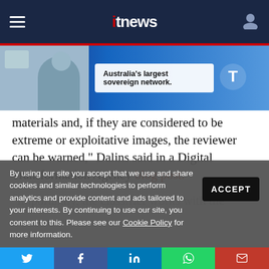ITNews - Australia's largest sovereign network.
[Figure (screenshot): ITnews website navigation bar with hamburger menu, ITnews logo, and user icon on dark navy background with red underline. Below is an advertisement banner for Telstra: Australia's largest sovereign network.]
materials and, if they are considered to be extreme or exploitative images, the reviewer can be warned,” Dalins said in a Digital Transformation Agency blog post.
“Importantly, the classifier works with the [text obscured by cookie overlay] work so they [text obscured] their processes.”
By using our site you accept that we use and share cookies and similar technologies to perform analytics and provide content and ads tailored to your interests. By continuing to use our site, you consent to this. Please see our Cookie Policy for more information.